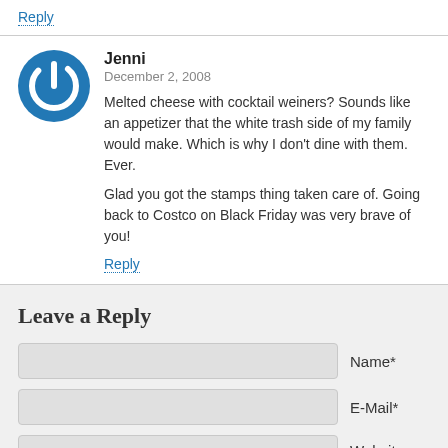Reply
Jenni
December 2, 2008

Melted cheese with cocktail weiners? Sounds like an appetizer that the white trash side of my family would make. Which is why I don't dine with them. Ever.

Glad you got the stamps thing taken care of. Going back to Costco on Black Friday was very brave of you!
Reply
Leave a Reply
Name*
E-Mail*
Website